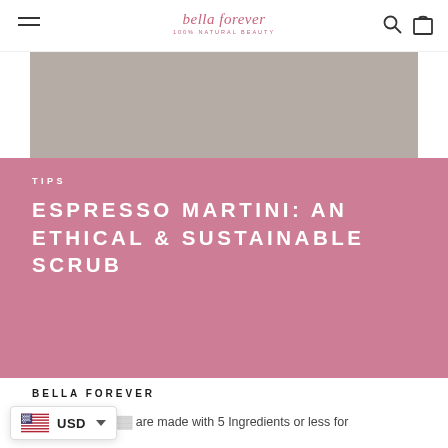bella forever — 100% natural beauty
[Figure (photo): Gray rectangular image placeholder at top of page]
TIPS
ESPRESSO MARTINI: AN ETHICAL & SUSTAINABLE SCRUB
BELLA FOREVER
...are made with 5 Ingredients or less for